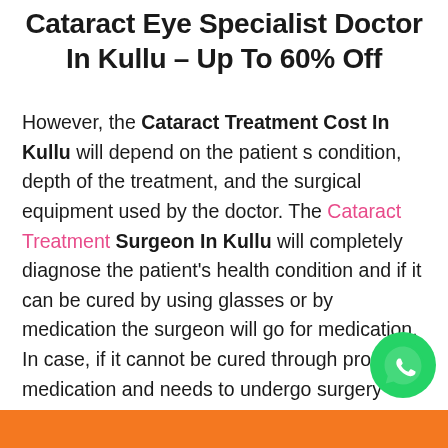Cataract Eye Specialist Doctor In Kullu – Up To 60% Off
However, the Cataract Treatment Cost In Kullu will depend on the patient s condition, depth of the treatment, and the surgical equipment used by the doctor. The Cataract Treatment Surgeon In Kullu will completely diagnose the patient's health condition and if it can be cured by using glasses or by medication the surgeon will go for medication. In case, if it cannot be cured through proper medication and needs to undergo surgery then, the Cataract Eye Specialist Doctor In Kullu will recommend the surgery. Now, you need to worry about the Cataract Treatment Cost In Kullu you just need to contact PlanMyScan team experts and get the required details.
[Figure (logo): WhatsApp floating button icon, green circle with white phone handset]
Orange bar at bottom of page